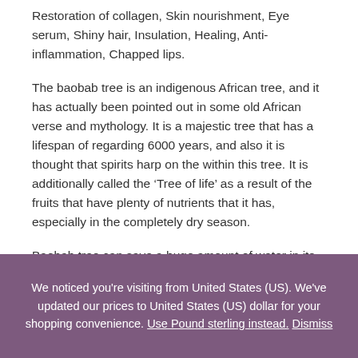Restoration of collagen, Skin nourishment, Eye serum, Shiny hair, Insulation, Healing, Anti-inflammation, Chapped lips.
The baobab tree is an indigenous African tree, and it has actually been pointed out in some old African verse and mythology. It is a majestic tree that has a lifespan of regarding 6000 years, and also it is thought that spirits harp on the within this tree. It is additionally called the ‘Tree of life’ as a result of the fruits that have plenty of nutrients that it has, especially in the completely dry season.
Baobab tree can save a huge amount of water in its trunk as a major contributor to its oil content, and...
We noticed you're visiting from United States (US). We've updated our prices to United States (US) dollar for your shopping convenience. Use Pound sterling instead. Dismiss